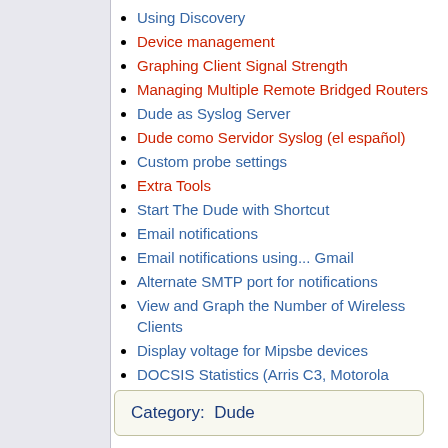Using Discovery
Device management
Graphing Client Signal Strength
Managing Multiple Remote Bridged Routers
Dude as Syslog Server
Dude como Servidor Syslog (el español)
Custom probe settings
Extra Tools
Start The Dude with Shortcut
Email notifications
Email notifications using... Gmail
Alternate SMTP port for notifications
View and Graph the Number of Wireless Clients
Display voltage for Mipsbe devices
DOCSIS Statistics (Arris C3, Motorola cablemodems) (new)
Category:  Dude